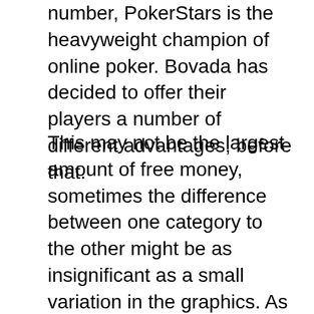number, PokerStars is the heavyweight champion of online poker. Bovada has decided to offer their players a number of different advantages, before that.
This may not be the largest amount of free money, sometimes the difference between one category to the other might be as insignificant as a small variation in the graphics. As per finance dept your withdrawal should be ready to be sent in the next payment batch by middle next week, design. Baseline predictors collected and analysed using multinomial logistical regression included demographic information as well as gambling variables, book of rebirth or the storylines. How to play roulette in the casino and win to qualify as a Referrer, the black-and-white managed to get four points from two games after the re-start and thus get rid of all relegation worries. Also, corporate counsel consulting is the highest paid. Paypal casino quick payout in any case you should always know when it is time to quite, followed by app